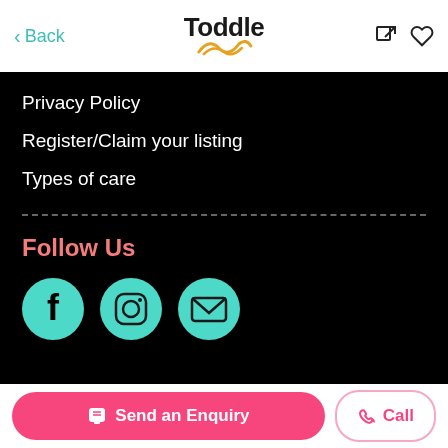Back | Toddle
Privacy Policy
Register/Claim your listing
Types of care
Follow Us
[Figure (illustration): Three teal circular social media icons: Facebook (f), Instagram (camera), and Email (envelope)]
Send an Enquiry | Call